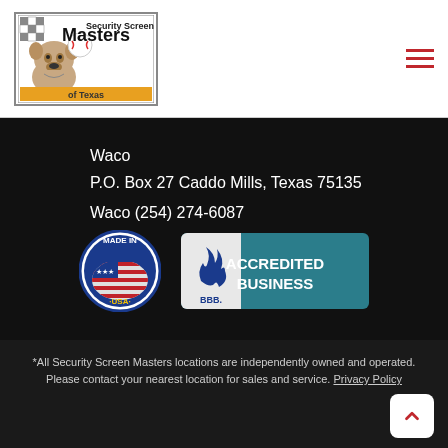[Figure (logo): Security Screen Masters of Texas logo with bulldog mascot]
Waco
P.O. Box 27 Caddo Mills, Texas 75135

Waco (254) 274-6087
[Figure (logo): Made in USA circular badge with American flag]
[Figure (logo): BBB Accredited Business badge]
*All Security Screen Masters locations are independently owned and operated.  Please contact your nearest location for sales and service. Privacy Policy